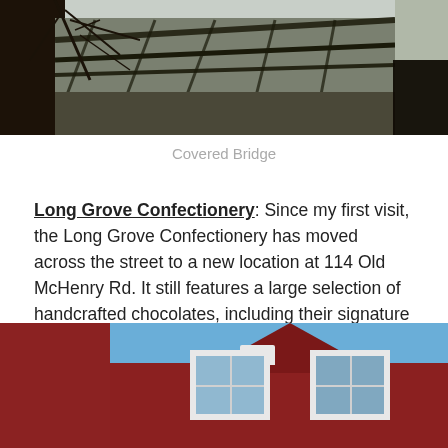[Figure (photo): Photograph of a covered bridge structure with bare tree branches visible on the left side, taken in winter or late autumn. Dark wooden beams and bridge framework visible against a light sky.]
Covered Bridge
Long Grove Confectionery: Since my first visit, the Long Grove Confectionery has moved across the street to a new location at 114 Old McHenry Rd. It still features a large selection of handcrafted chocolates, including their signature Giant Myrtles, English toffee, dark chocolate, barks and sea salt caramels. They also make a number seasonal offerings as well including peppermint bark and a dark chocolate pumpkin sea salt caramel that I love.
[Figure (photo): Photograph of a red wooden building (house or shop) with white-trimmed windows, photographed from below against a blue sky. A peaked roofline and two upper windows are visible.]